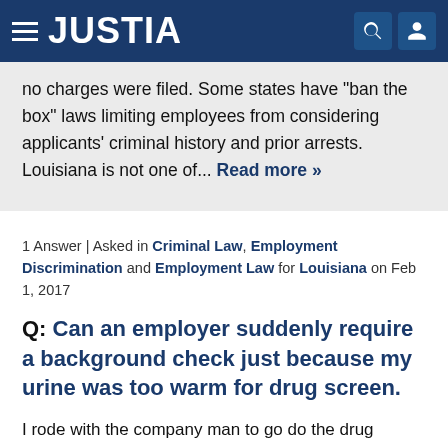JUSTIA
no charges were filed. Some states have "ban the box" laws limiting employees from considering applicants' criminal history and prior arrests. Louisiana is not one of... Read more »
1 Answer | Asked in Criminal Law, Employment Discrimination and Employment Law for Louisiana on Feb 1, 2017
Q: Can an employer suddenly require a background check just because my urine was too warm for drug screen.
I rode with the company man to go do the drug screen and when I took the test, the lady said my urine was too warm so she poured it out. Well after sitting there for 2